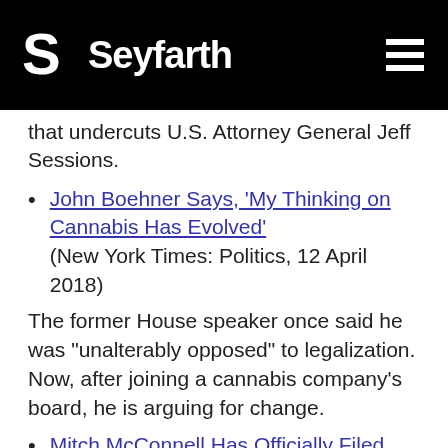Seyfarth
that undercuts U.S. Attorney General Jeff Sessions.
John Boehner Says, ‘My Thinking on Cannabis Has Evolved’
(New York Times: Politics, 12 April 2018)
The former House speaker once said he was “unalterably opposed” to legalization. Now, after joining a cannabis company’s board, he is arguing for change.
Mitch McConnell Has Officially Filed His Promised Hemp Farming Bill
(High Times, 12 April 2018)